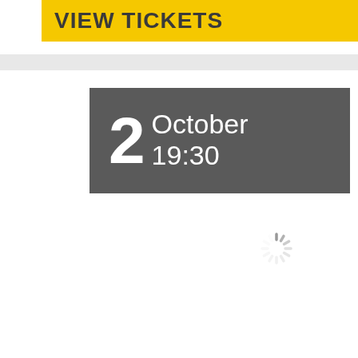VIEW TICKETS
2 October 19:30
[Figure (other): Loading spinner/throbber animation indicator]